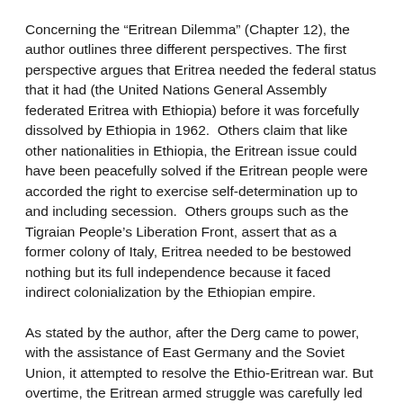Concerning the “Eritrean Dilemma” (Chapter 12), the author outlines three different perspectives. The first perspective argues that Eritrea needed the federal status that it had (the United Nations General Assembly federated Eritrea with Ethiopia) before it was forcefully dissolved by Ethiopia in 1962.  Others claim that like other nationalities in Ethiopia, the Eritrean issue could have been peacefully solved if the Eritrean people were accorded the right to exercise self-determination up to and including secession.  Others groups such as the Tigraian People’s Liberation Front, assert that as a former colony of Italy, Eritrea needed to be bestowed nothing but its full independence because it faced indirect colonialization by the Ethiopian empire.
As stated by the author, after the Derg came to power, with the assistance of East Germany and the Soviet Union, it attempted to resolve the Ethio-Eritrean war. But overtime, the Eritrean armed struggle was carefully led by the Eritrean Liberation Front (ELF) and the Eritrean People’s Liberation Front (EPLF). Actually, during the Ethio-Somali War the Eritrean forces almost drove away the Ethiopian Forces from Eritrea.  But, after the Ethiopian and Cuban forces repulsed the Somali incursion, the Ethiopian army swiftly handled the Eritrean guerrilla forces causing them retreat to their enclaves. Afterwards, the Ethiopian army launched a number offensives including the famous “the Red Star